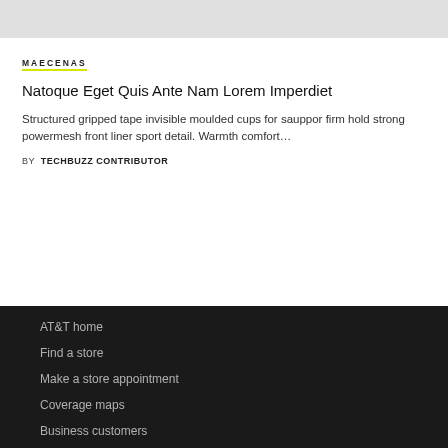[Figure (photo): Gray placeholder image at top of page]
MAECENAS
Natoque Eget Quis Ante Nam Lorem Imperdiet
Structured gripped tape invisible moulded cups for sauppor firm hold strong powermesh front liner sport detail. Warmth comfort…
BY  TECHBUZZ CONTRIBUTOR
AT&T home
Find a store
Make a store appointment
Coverage maps
Business customers